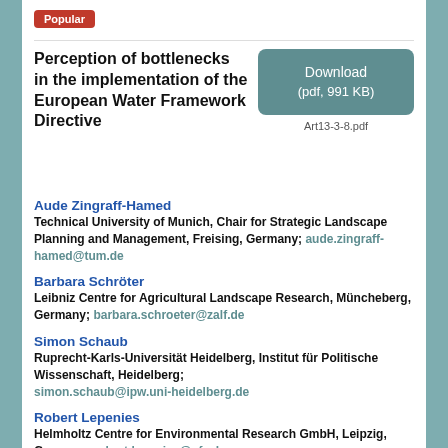Popular
Perception of bottlenecks in the implementation of the European Water Framework Directive
Download (pdf, 991 KB)
Art13-3-8.pdf
Aude Zingraff-Hamed
Technical University of Munich, Chair for Strategic Landscape Planning and Management, Freising, Germany; aude.zingraff-hamed@tum.de
Barbara Schröter
Leibniz Centre for Agricultural Landscape Research, Müncheberg, Germany; barbara.schroeter@zalf.de
Simon Schaub
Ruprecht-Karls-Universität Heidelberg, Institut für Politische Wissenschaft, Heidelberg; simon.schaub@ipw.uni-heidelberg.de
Robert Lepenies
Helmholtz Centre for Environmental Research GmbH, Leipzig, Germany; robert.lepenies@ufz.de
Ulf Stein